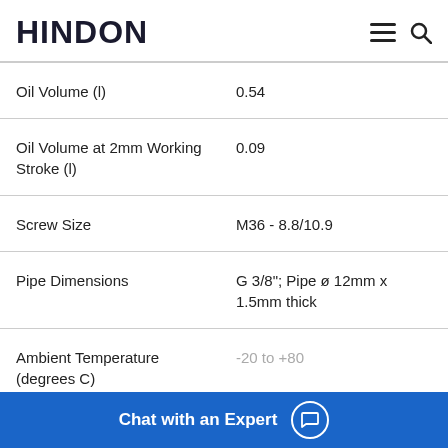HINDON
| Specification | Value |
| --- | --- |
| Oil Volume (l) | 0.54 |
| Oil Volume at 2mm Working Stroke (l) | 0.09 |
| Screw Size | M36 - 8.8/10.9 |
| Pipe Dimensions | G 3/8"; Pipe ø 12mm x 1.5mm thick |
| Ambient Temperature (degrees C) | -20 to +80 |
Chat with an Expert